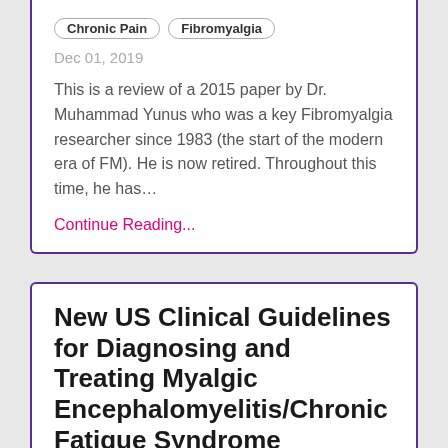Chronic Pain
Fibromyalgia
Dec 01, 2019
This is a review of a 2015 paper by Dr. Muhammad Yunus who was a key Fibromyalgia researcher since 1983 (the start of the modern era of FM). He is now retired. Throughout this time, he has…
Continue Reading...
New US Clinical Guidelines for Diagnosing and Treating Myalgic Encephalomyelitis/Chronic Fatigue Syndrome (ME/CFS)